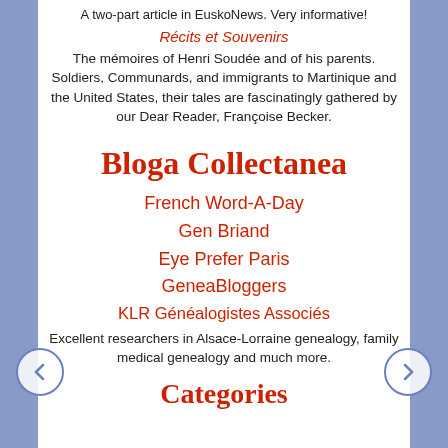A two-part article in EuskoNews. Very informative!
Récits et Souvenirs
The mémoires of Henri Soudée and of his parents. Soldiers, Communards, and immigrants to Martinique and the United States, their tales are fascinatingly gathered by our Dear Reader, Françoise Becker.
Bloga Collectanea
French Word-A-Day
Gen Briand
Eye Prefer Paris
GeneaBloggers
KLR Généalogistes Associés
Excellent researchers in Alsace-Lorraine genealogy, family medical genealogy and much more.
Categories